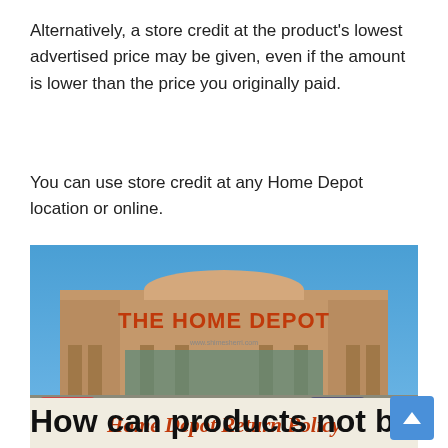Alternatively, a store credit at the product's lowest advertised price may be given, even if the amount is lower than the price you originally paid.
You can use store credit at any Home Depot location or online.
[Figure (photo): Photo of a Home Depot store exterior with the orange 'THE HOME DEPOT' sign on the building facade, parking lot in front, and overlay text 'Home Depot Return Policy' in orange italic font at the bottom.]
How can products not be